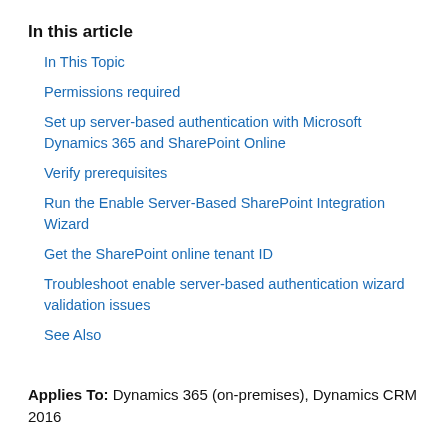In this article
In This Topic
Permissions required
Set up server-based authentication with Microsoft Dynamics 365 and SharePoint Online
Verify prerequisites
Run the Enable Server-Based SharePoint Integration Wizard
Get the SharePoint online tenant ID
Troubleshoot enable server-based authentication wizard validation issues
See Also
Applies To: Dynamics 365 (on-premises), Dynamics CRM 2016
This topic describes how to configure server-based